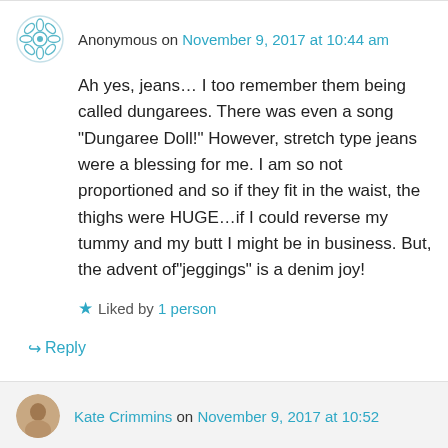Anonymous on November 9, 2017 at 10:44 am
Ah yes, jeans… I too remember them being called dungarees. There was even a song "Dungaree Doll!" However, stretch type jeans were a blessing for me. I am so not proportioned and so if they fit in the waist, the thighs were HUGE…if I could reverse my tummy and my butt I might be in business. But, the advent of"jeggings" is a denim joy!
Liked by 1 person
Reply
Kate Crimmins on November 9, 2017 at 10:52